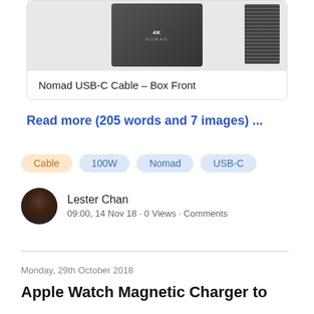[Figure (photo): Nomad USB-C cable box front packaging, dark grey box with 4K label and cable alongside]
Nomad USB-C Cable – Box Front
Read more (205 words and 7 images) ...
Cable
100W
Nomad
USB-C
Lester Chan
09:00, 14 Nov 18 · 0 Views · Comments
Monday, 29th October 2018
Apple Watch Magnetic Charger to